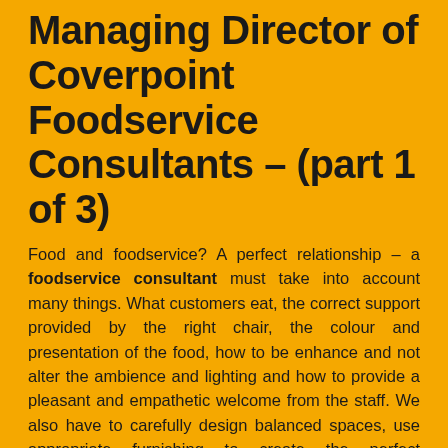Managing Director of Coverpoint Foodservice Consultants – (part 1 of 3)
Food and foodservice? A perfect relationship – a foodservice consultant must take into account many things. What customers eat, the correct support provided by the right chair, the colour and presentation of the food, how to be enhance and not alter the ambience and lighting and how to provide a pleasant and empathetic welcome from the staff. We also have to carefully design balanced spaces, use appropriate furnishing to create the perfect atmosphere, giving substance to the initial idea, or better, to the finished concept.
I have always wondered whether it is really possible to split the relationship between food and the tools used in